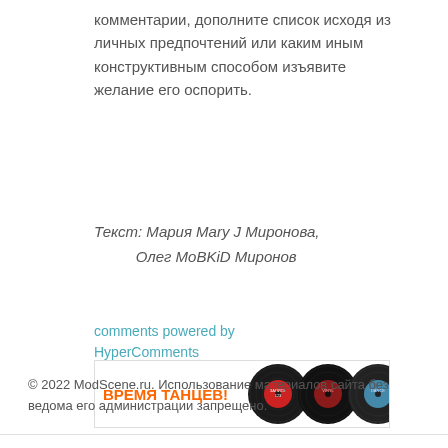комментарии, дополните список исходя из личных предпочтений или каким иным конструктивным способом изъявите желание его оспорить.
Текст: Мария Mary J Миронова, Олег MoBKiD Миронов
comments powered by HyperComments
[Figure (illustration): Banner advertisement showing vinyl records with orange text 'ВРЕМЯ ТАНЦЕВ!']
© 2022 ModScene.ru. Использование материалов сайта без ведома его администрации запрещено.